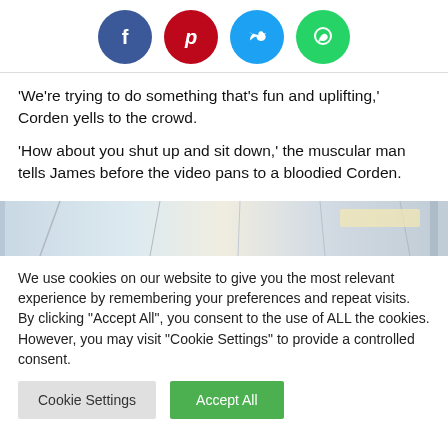[Figure (infographic): Row of four social media share buttons: Facebook (blue circle with f), Pinterest (red circle with P), Twitter (blue circle with bird), WhatsApp (green circle with phone/chat icon)]
‘We’re trying to do something that’s fun and uplifting,’ Corden yells to the crowd.
‘How about you shut up and sit down,’ the muscular man tells James before the video pans to a bloodied Corden.
[Figure (photo): Partial image of what appears to be an interior space, possibly a subway or train car ceiling/interior, light blue and white tones.]
We use cookies on our website to give you the most relevant experience by remembering your preferences and repeat visits. By clicking "Accept All", you consent to the use of ALL the cookies. However, you may visit "Cookie Settings" to provide a controlled consent.